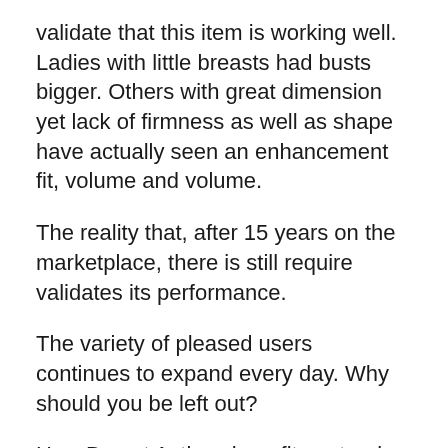validate that this item is working well. Ladies with little breasts had busts bigger. Others with great dimension yet lack of firmness as well as shape have actually seen an enhancement fit, volume and volume.
The reality that, after 15 years on the marketplace, there is still require validates its performance.
The variety of pleased users continues to expand every day. Why should you be left out?
How Breast Actives benefits natural breast enhancement
The herbal active ingredients in both the pills